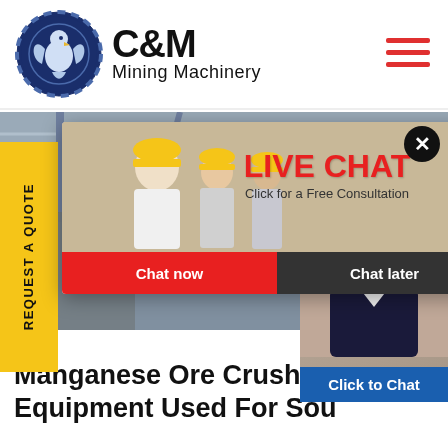[Figure (logo): C&M Mining Machinery logo with eagle/gear icon in navy blue circle, company name in bold black text]
[Figure (screenshot): Website screenshot showing industrial mining machinery background image with a live chat popup overlay featuring workers in yellow hard hats, LIVE CHAT heading in red, Chat now (red) and Chat later (dark) buttons, a yellow REQUEST A QUOTE vertical tab on the left, a blue Hours online banner top right, and a customer service agent photo on the right with Click to Chat and Enquiry buttons]
Manganese Ore Crushing Equipment Used For Sou